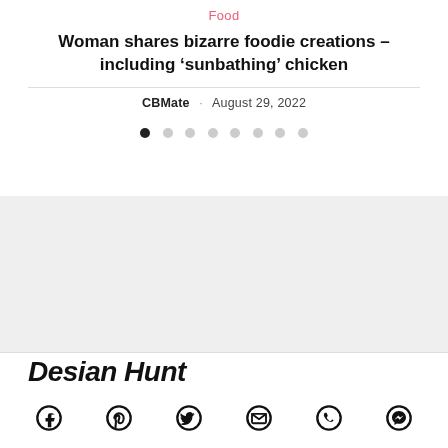Food
Woman shares bizarre foodie creations – including 'sunbathing' chicken
CBMate · August 29, 2022
[Figure (other): Slideshow navigation dots — 8 dots with first dot filled/active]
[Figure (other): Gray advertisement or image placeholder area]
[Figure (logo): Design Hunt logo in bold italic handwritten style]
[Figure (other): Social media share icons: Facebook, Pinterest, Twitter, Email, WhatsApp, Messenger]